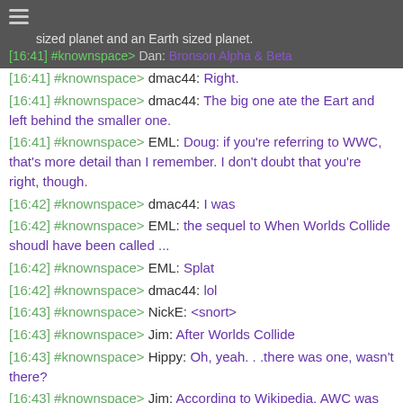sized planet and an Earth sized planet. [16:41] #knownspace> Dan: Bronson Alpha & Beta
[16:41] #knownspace> dmac44: Right.
[16:41] #knownspace> dmac44: The big one ate the Eart and left behind the smaller one.
[16:41] #knownspace> EML: Doug: if you're referring to WWC, that's more detail than I remember. I don't doubt that you're right, though.
[16:42] #knownspace> dmac44: I was
[16:42] #knownspace> EML: the sequel to When Worlds Collide shoudl have been called ...
[16:42] #knownspace> EML: Splat
[16:42] #knownspace> dmac44: lol
[16:43] #knownspace> NickE: <snort>
[16:43] #knownspace> Jim: After Worlds Collide
[16:43] #knownspace> Hippy: Oh, yeah. . .there was one, wasn't there?
[16:43] #knownspace> Jim: According to Wikipedia, AWC was its title.
[16:44] #knownspace> Dan: What was the silly thing that had Venus